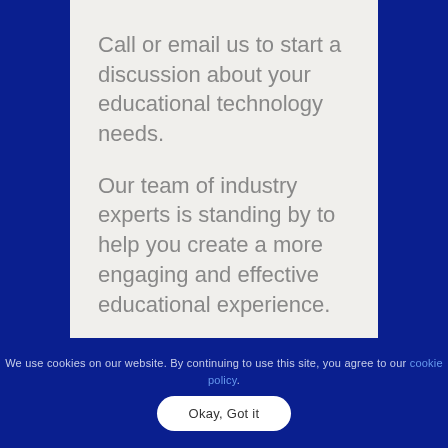Call or email us to start a discussion about your educational technology needs.
Our team of industry experts is standing by to help you create a more engaging and effective educational experience.
We use cookies on our website. By continuing to use this site, you agree to our cookie policy.
Okay, Got it